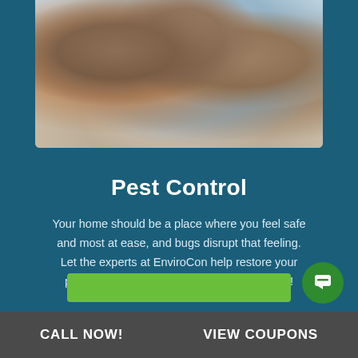[Figure (photo): Family scene with mother, father, and young child playing/laughing on a bed]
Pest Control
Your home should be a place where you feel safe and most at ease, and bugs disrupt that feeling. Let the experts at EnviroCon help restore your peace of mind with our pest control services!
CALL NOW!   VIEW COUPONS